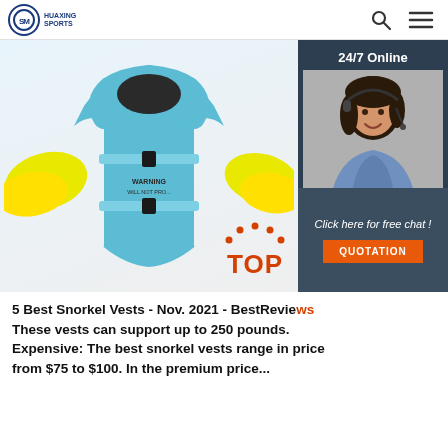HUAXING SPORTS
[Figure (photo): Blue child swim vest/life jacket with yellow wing floats and black buckle straps]
[Figure (infographic): 24/7 Online chat widget with female customer service agent photo, text 'Click here for free chat!' and orange QUOTATION button]
[Figure (illustration): Orange TOP badge/icon in upper right corner of text area]
5 Best Snorkel Vests - Nov. 2021 - BestReviews These vests can support up to 250 pounds. Expensive: The best snorkel vests range in price from $75 to $100. In the premium price...